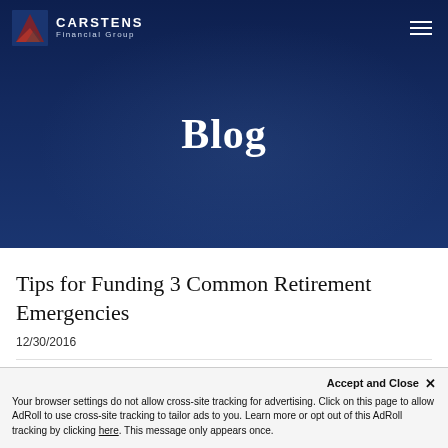CARSTENS Financial Group
Blog
Tips for Funding 3 Common Retirement Emergencies
12/30/2016
Accept and Close ✕ Your browser settings do not allow cross-site tracking for advertising. Click on this page to allow AdRoll to use cross-site tracking to tailor ads to you. Learn more or opt out of this AdRoll tracking by clicking here. This message only appears once.